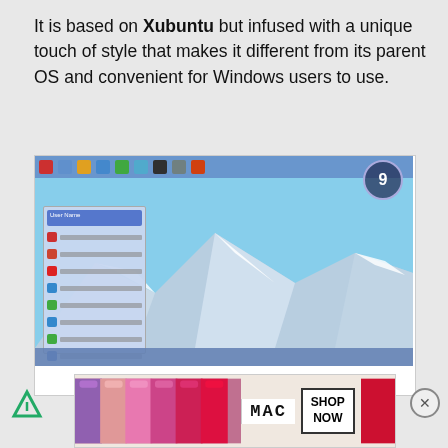It is based on Xubuntu but infused with a unique touch of style that makes it different from its parent OS and convenient for Windows users to use.
[Figure (screenshot): Screenshot of Chalet Linux Distro desktop showing a taskbar at top with app icons, a clock widget showing 9, a start menu open on the left with application list, and a mountain/snow landscape wallpaper.]
Chalet Linux Distro
[Figure (photo): MAC cosmetics advertisement banner showing lipsticks and SHOP NOW button]